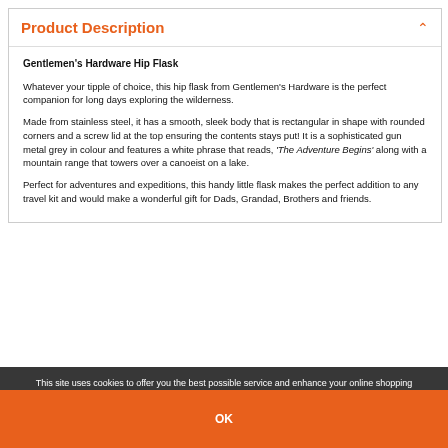Product Description
Gentlemen's Hardware Hip Flask
Whatever your tipple of choice, this hip flask from Gentlemen's Hardware is the perfect companion for long days exploring the wilderness.
Made from stainless steel, it has a smooth, sleek body that is rectangular in shape with rounded corners and a screw lid at the top ensuring the contents stays put! It is a sophisticated gun metal grey in colour and features a white phrase that reads, 'The Adventure Begins' along with a mountain range that towers over a canoeist on a lake.
Perfect for adventures and expeditions, this handy little flask makes the perfect addition to any travel kit and would make a wonderful gift for Dads, Grandad, Brothers and friends.
This site uses cookies to offer you the best possible service and enhance your online shopping experience. By using our website you agree to the use of these cookies  Learn more
OK
cocktail or a freshly changed bicycle tyre, you're the gentleman for the job